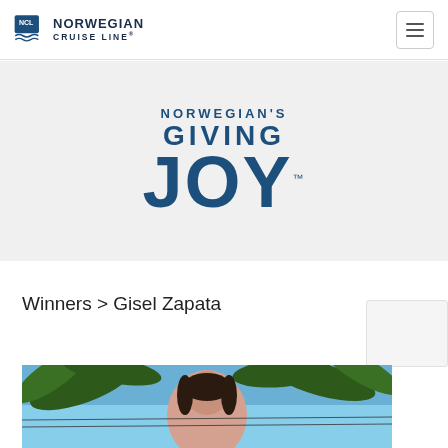NCL NORWEGIAN CRUISE LINE®
[Figure (logo): Norwegian's Giving Joy campaign logo on grey background]
Winners > Gisel Zapata
[Figure (photo): Photo of Gisel Zapata outdoors with palm trees and blue sky in background]